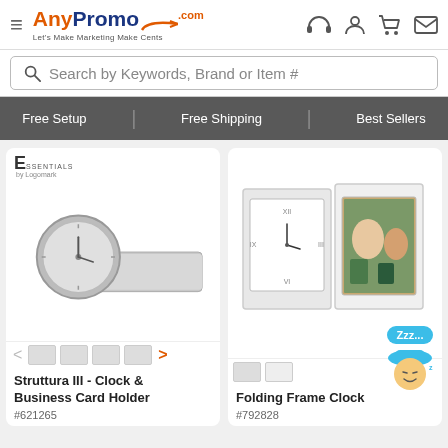[Figure (logo): AnyPromo.com logo with tagline 'Let's Make Marketing Make Cents']
Search by Keywords, Brand or Item #
Free Setup | Free Shipping | Best Sellers
[Figure (photo): Struttura III - Clock & Business Card Holder product image, silver metallic desk clock with card holder]
[Figure (photo): Folding Frame Clock product image, white folding frame with clock and photo insert]
Struttura III - Clock & Business Card Holder
#621265
Folding Frame Clock
#792828